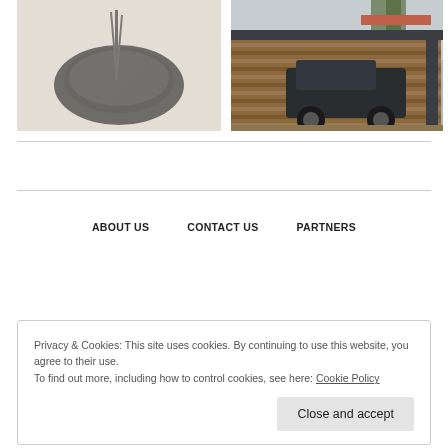[Figure (photo): Photo of a black incense bowl with sticks on a light beige surface]
[Figure (photo): Photo of a modern wooden carport with a dark car underneath, dark metal frame]
ABOUT US    CONTACT US    PARTNERS
Privacy & Cookies: This site uses cookies. By continuing to use this website, you agree to their use.
To find out more, including how to control cookies, see here: Cookie Policy
Close and accept